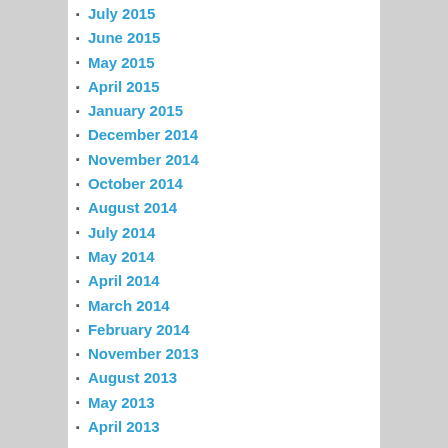January 2016
July 2015
June 2015
May 2015
April 2015
January 2015
December 2014
November 2014
October 2014
August 2014
July 2014
May 2014
April 2014
March 2014
February 2014
November 2013
August 2013
May 2013
April 2013
META